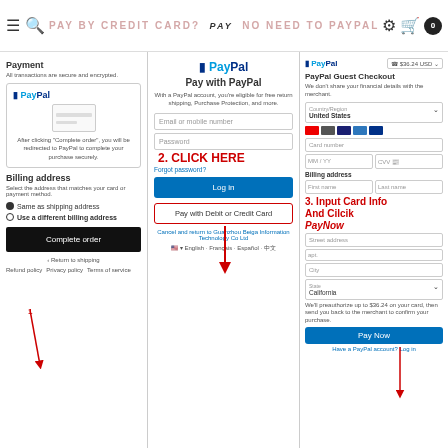PAY BY CREDIT CARD? NO NEED TO PAYPAL ACCOUNT
[Figure (screenshot): Left screenshot showing PayPal payment section with billing address, radio buttons for 'Same as shipping address' and 'Use a different billing address', and a black 'Complete order' button. Red arrow labeled '1' points to the option.]
[Figure (screenshot): Middle screenshot of PayPal login page with email/mobile field, password field, 'Log In' button, and 'Pay with Debit or Credit Card' button in a red box. Red annotation '2. CLICK HERE' with arrow pointing to the debit card button.]
[Figure (screenshot): Right screenshot of PayPal Guest Checkout form showing country/region selector (United States), card icons, card number field, expiry/CVV fields, billing address fields, and a blue 'Pay Now' button. Red annotation '3. Input Card Info And Cilcik PayNow' with arrow.]
PRODUCT DETAILS
white / S - $23.99
ADD TO CART